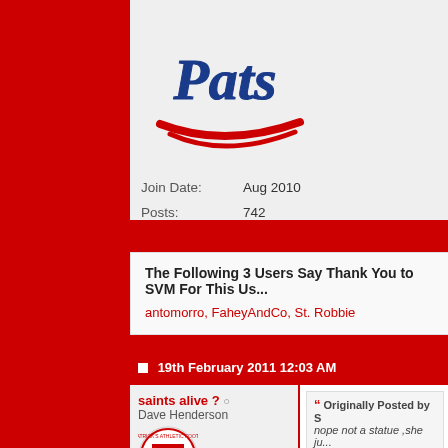[Figure (logo): Pats logo - cursive script text in blue and red]
Join Date: Aug 2010
Posts: 742
Thanks: 338
Thanked 628 Times in 201 Posts
The Following 3 Users Say Thank You to SVM For This Us...
antomorro, FaheyAndCo, St. Robbie
19th February 2011 12:03 AM
saints alive ?
Dave Henderson
[Figure (logo): St Patrick's Athletic Football Club circular crest logo]
Originally Posted by S
nope not a statue ,she ju... Goldfinger .
jasus they do anything to get a